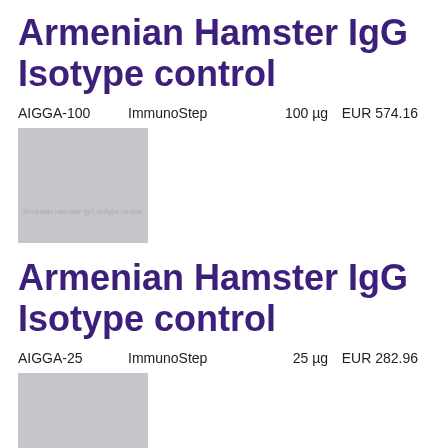Armenian Hamster IgG Isotype control
AIGGA-100    ImmunoStep    100 µg    EUR 574.16
[Figure (photo): Product image placeholder for Armenian Hamster IgG Isotype control, grey square with text watermark]
Armenian Hamster IgG Isotype control
AIGGA-25    ImmunoStep    25 µg    EUR 282.96
[Figure (photo): Product image placeholder for Armenian Hamster IgG Isotype control, grey square with text watermark]